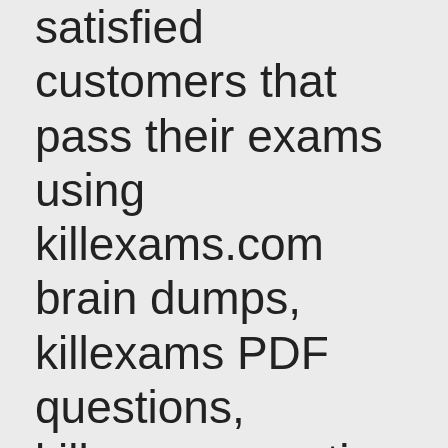satisfied customers that pass their exams using killexams.com brain dumps, killexams PDF questions, killexams practice questions, killexams exam simulator. Visit their test questions and demo brain dumps, their exam simulator